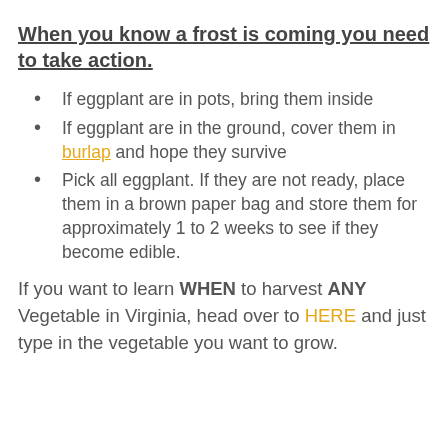When you know a frost is coming you need to take action.
If eggplant are in pots, bring them inside
If eggplant are in the ground, cover them in burlap and hope they survive
Pick all eggplant. If they are not ready, place them in a brown paper bag and store them for approximately 1 to 2 weeks to see if they become edible.
If you want to learn WHEN to harvest ANY Vegetable in Virginia, head over to HERE and just type in the vegetable you want to grow.